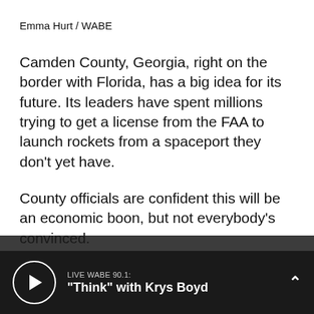Emma Hurt / WABE
Camden County, Georgia, right on the border with Florida, has a big idea for its future. Its leaders have spent millions trying to get a license from the FAA to launch rockets from a spaceport they don't yet have.
County officials are confident this will be an economic boon, but not everybody's convinced.
After the release of the draft environmental impact statement an unprecedented 15,000
LIVE WABE 90.1: "Think" with Krys Boyd